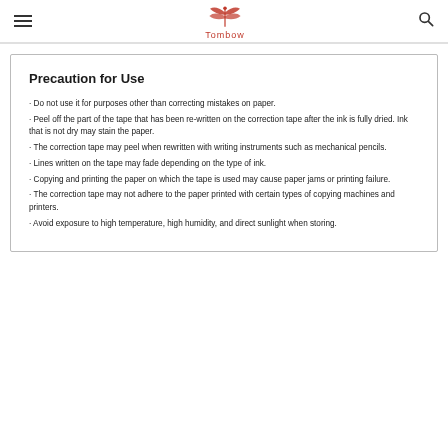Tombow
Precaution for Use
· Do not use it for purposes other than correcting mistakes on paper.
· Peel off the part of the tape that has been re-written on the correction tape after the ink is fully dried. Ink that is not dry may stain the paper.
· The correction tape may peel when rewritten with writing instruments such as mechanical pencils.
· Lines written on the tape may fade depending on the type of ink.
· Copying and printing the paper on which the tape is used may cause paper jams or printing failure.
· The correction tape may not adhere to the paper printed with certain types of copying machines and printers.
· Avoid exposure to high temperature, high humidity, and direct sunlight when storing.